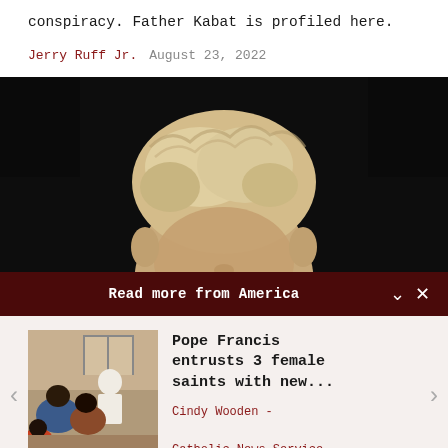conspiracy. Father Kabat is profiled here.
Jerry Ruff Jr.   August 23, 2022
[Figure (photo): Close-up photo of a person with blond disheveled hair against a dark background, face partially visible at bottom.]
Read more from America
[Figure (photo): Thumbnail photo of Pope Francis meeting with a group of people.]
Pope Francis entrusts 3 female saints with new...
Cindy Wooden - Catholic News Service